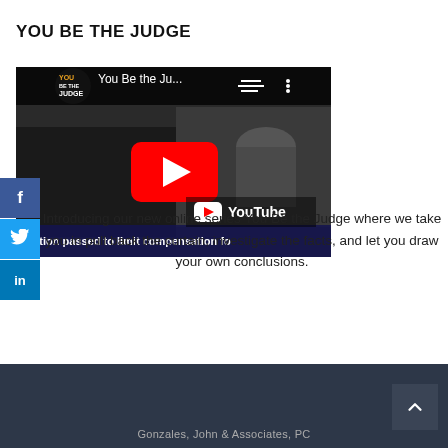YOU BE THE JUDGE
[Figure (screenshot): YouTube video thumbnail for 'You Be the Ju...' showing a 'You Be the Judge' channel logo on the left, Capitol building in background, red YouTube play button in center, with text at bottom: 'islation passed to limit compensation fo'. YouTube logo with play button in lower right.]
Introducing our new online series You Be the Judge where we take you in pull back the curtain, investigate the facts, and let you draw your own conclusions.
Gonzales, John & Associates, PC